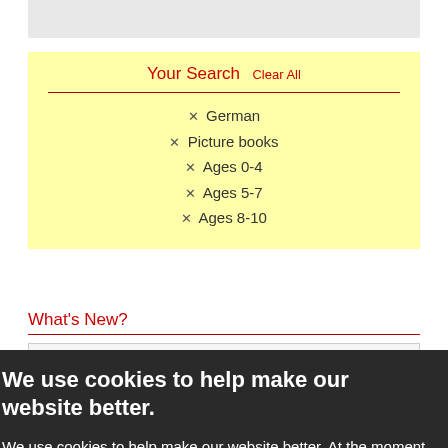[Figure (screenshot): Gray rectangle at top of page, partial UI element]
Your Search  Clear All
✕ German
✕ Picture books
✕ Ages 0-4
✕ Ages 5-7
✕ Ages 8-10
What's New?
Show me everything
Price
We use cookies to help make our website better.
We use cookies to help make our website better. At the moment, your preferences allow us to use cookies. If you are happy with this please click here or simply continue to use our website. Otherwise find out more and amend your preferences here.